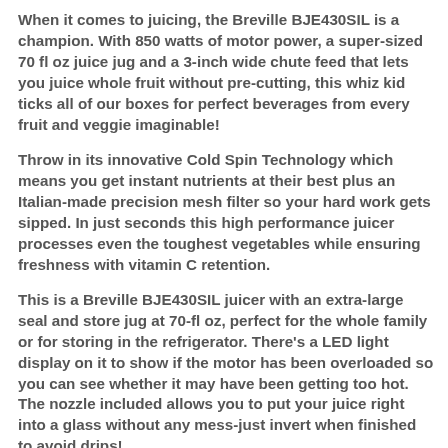When it comes to juicing, the Breville BJE430SIL is a champion. With 850 watts of motor power, a super-sized 70 fl oz juice jug and a 3-inch wide chute feed that lets you juice whole fruit without pre-cutting, this whiz kid ticks all of our boxes for perfect beverages from every fruit and veggie imaginable!
Throw in its innovative Cold Spin Technology which means you get instant nutrients at their best plus an Italian-made precision mesh filter so your hard work gets sipped. In just seconds this high performance juicer processes even the toughest vegetables while ensuring freshness with vitamin C retention.
This is a Breville BJE430SIL juicer with an extra-large seal and store jug at 70-fl oz, perfect for the whole family or for storing in the refrigerator. There's a LED light display on it to show if the motor has been overloaded so you can see whether it may have been getting too hot. The nozzle included allows you to put your juice right into a glass without any mess-just invert when finished to avoid drips!